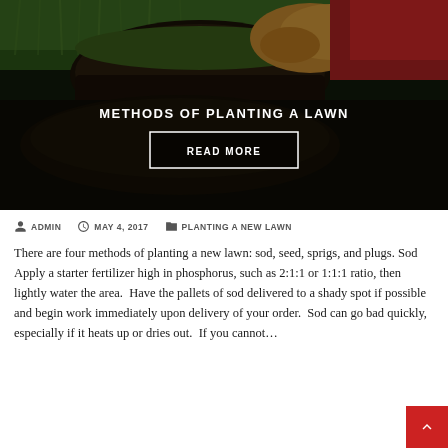[Figure (photo): Person wearing gloves and a red shirt rolling out sod on a lawn]
METHODS OF PLANTING A LAWN
READ MORE
ADMIN   MAY 4, 2017   PLANTING A NEW LAWN
There are four methods of planting a new lawn: sod, seed, sprigs, and plugs. Sod Apply a starter fertilizer high in phosphorus, such as 2:1:1 or 1:1:1 ratio, then lightly water the area.  Have the pallets of sod delivered to a shady spot if possible and begin work immediately upon delivery of your order.  Sod can go bad quickly, especially if it heats up or dries out.  If you cannot…